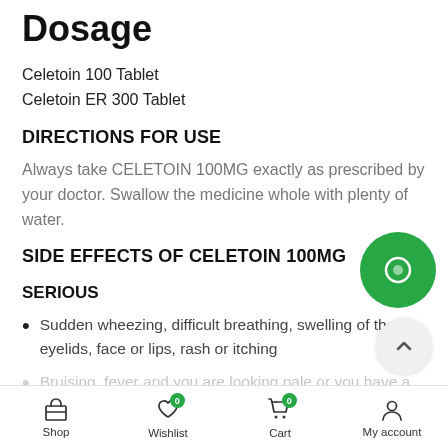Dosage
Celetoin 100 Tablet
Celetoin ER 300 Tablet
DIRECTIONS FOR USE
Always take CELETOIN 100MG exactly as prescribed by your doctor. Swallow the medicine whole with plenty of water.
SIDE EFFECTS OF CELETOIN 100MG
SERIOUS
Sudden wheezing, difficult breathing, swelling of the eyelids, face or lips, rash or itching
Bruising, fever and you are looking pale or you have a severe throat. These may be first signs of an abnormality of the blood
Shop | Wishlist 0 | Cart 0 | My account